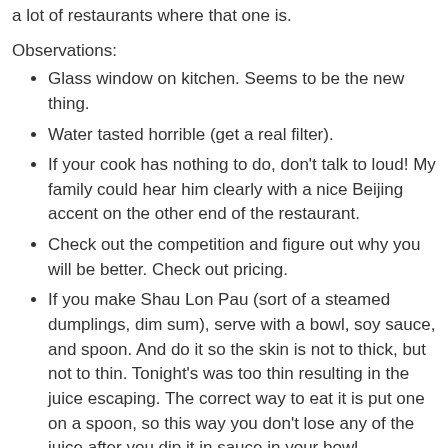a lot of restaurants where that one is.
Observations:
Glass window on kitchen. Seems to be the new thing.
Water tasted horrible (get a real filter).
If your cook has nothing to do, don't talk to loud! My family could hear him clearly with a nice Beijing accent on the other end of the restaurant.
Check out the competition and figure out why you will be better. Check out pricing.
If you make Shau Lon Pau (sort of a steamed dumplings, dim sum), serve with a bowl, soy sauce, and spoon. And do it so the skin is not to thick, but not to thin. Tonight's was too thin resulting in the juice escaping. The correct way to eat it is put one on a spoon, so this way you don't lose any of the juice after you dip it in sauce in your bowl.